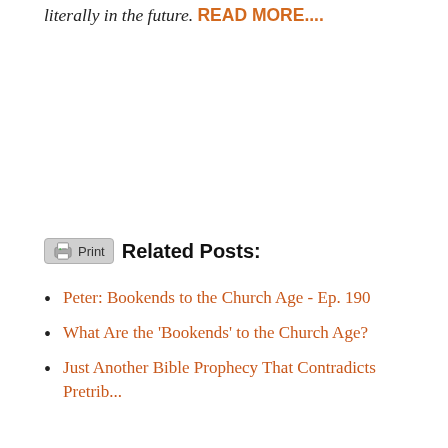literally in the future. READ MORE....
Print  Related Posts:
Peter: Bookends to the Church Age - Ep. 190
What Are the 'Bookends' to the Church Age?
Just Another Bible Prophecy That Contradicts Pretrib...